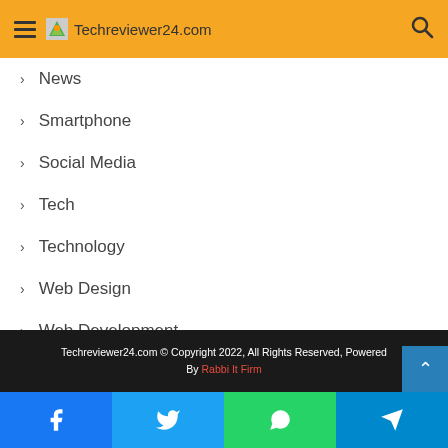Techreviewer24.com
News
Smartphone
Social Media
Tech
Technology
Web Design
Web Development
Website
Techreviewer24.com © Copyright 2022, All Rights Reserved, Powered By Rabbi It Firm